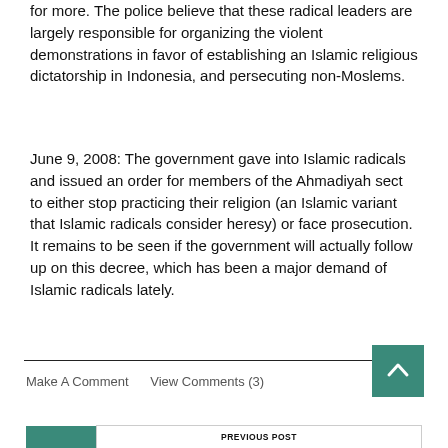for more. The police believe that these radical leaders are largely responsible for organizing the violent demonstrations in favor of establishing an Islamic religious dictatorship in Indonesia, and persecuting non-Moslems.
June 9, 2008: The government gave into Islamic radicals and issued an order for members of the Ahmadiyah sect to either stop practicing their religion (an Islamic variant that Islamic radicals consider heresy) or face prosecution. It remains to be seen if the government will actually follow up on this decree, which has been a major demand of Islamic radicals lately.
Make A Comment   View Comments (3)
PREVIOUS POST